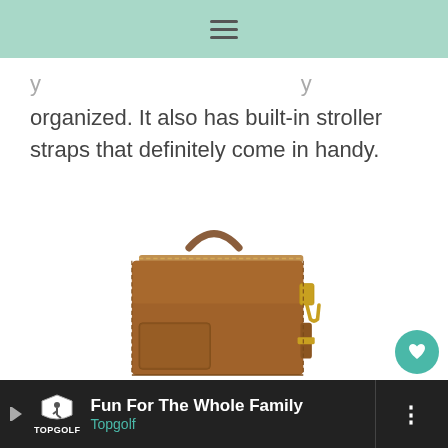≡
organized. It also has built-in stroller straps that definitely come in handy.
[Figure (photo): A brown leather diaper bag / backpack with gold zipper, top handle, side pockets, and an adjustable shoulder strap with gold hardware.]
Fun For The Whole Family Topgolf